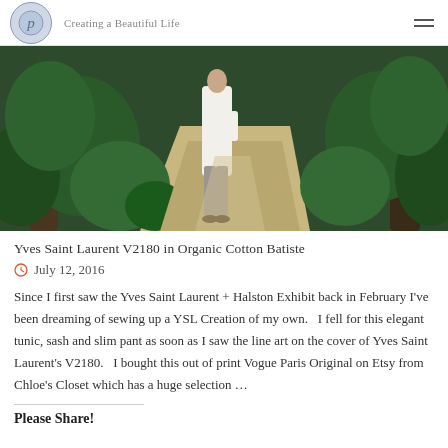Creating a Beautiful Life
[Figure (photo): Person wearing a white long tunic and grey slim pants walking on a concrete path through a lush tropical garden with large trees and green foliage on both sides.]
Yves Saint Laurent V2180 in Organic Cotton Batiste
July 12, 2016
Since I first saw the Yves Saint Laurent + Halston Exhibit back in February I’ve been dreaming of sewing up a YSL Creation of my own.   I fell for this elegant tunic, sash and slim pant as soon as I saw the line art on the cover of Yves Saint Laurent’s V2180.   I bought this out of print Vogue Paris Original on Etsy from Chloe’s Closet which has a huge selection …
Please Share!